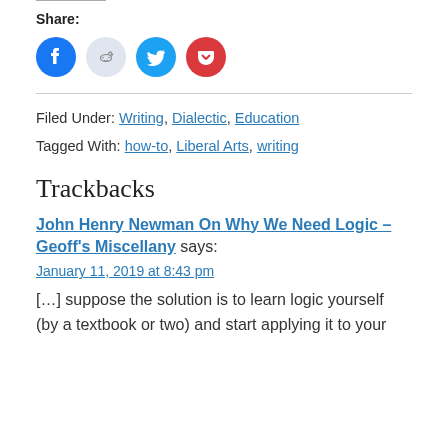Share:
[Figure (other): Social share icons: Facebook (blue circle), Reddit (grey circle), Twitter (blue circle), Pocket (red circle)]
Filed Under: Writing, Dialectic, Education
Tagged With: how-to, Liberal Arts, writing
Trackbacks
John Henry Newman On Why We Need Logic – Geoff's Miscellany says:
January 11, 2019 at 8:43 pm
[…] suppose the solution is to learn logic yourself (by a textbook or two) and start applying it to your life, that is, to learn […]